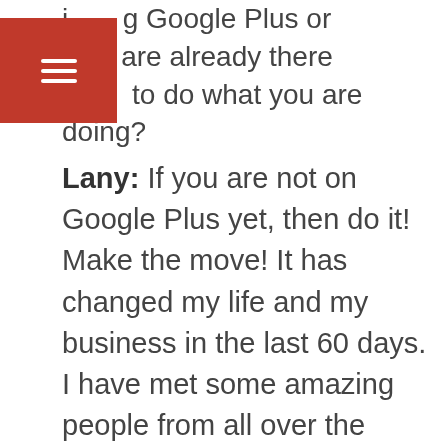j…g Google Plus or who are already there t… to do what you are doing?
Lany: If you are not on Google Plus yet, then do it! Make the move! It has changed my life and my business in the last 60 days. I have met some amazing people from all over the world. It has given me a platform to pursue a long term passion. Google Plus gives you the best platform to share your message with the world. If you are already on Google Plus, then continue to be the best version of yourself. People respect those who are true. Again, be kind and respectful. Pay